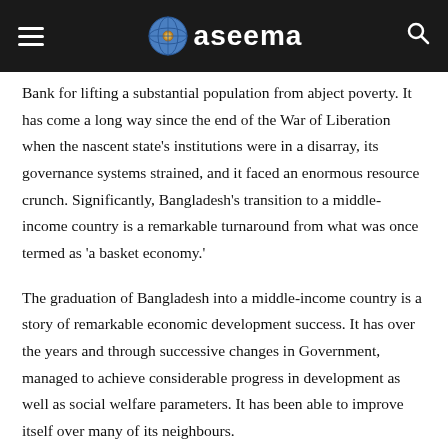aseema
Bank for lifting a substantial population from abject poverty. It has come a long way since the end of the War of Liberation when the nascent state’s institutions were in a disarray, its governance systems strained, and it faced an enormous resource crunch. Significantly, Bangladesh’s transition to a middle-income country is a remarkable turnaround from what was once termed as ‘a basket economy.’
The graduation of Bangladesh into a middle-income country is a story of remarkable economic development success. It has over the years and through successive changes in Government, managed to achieve considerable progress in development as well as social welfare parameters. It has been able to improve itself over many of its neighbours.
The notable resilience of Bangladesh economy as exhibited